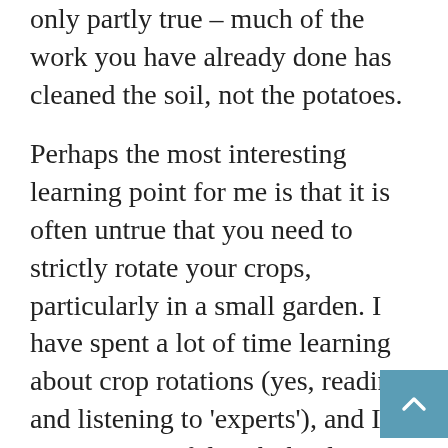only partly true – much of the work you have already done has cleaned the soil, not the potatoes.
Perhaps the most interesting learning point for me is that it is often untrue that you need to strictly rotate your crops, particularly in a small garden. I have spent a lot of time learning about crop rotations (yes, reading and listening to 'experts'), and I was very careful with the design of my Sheffield kitchen garden to include 4-year crop rotations in the plans. Charles suggests we can be more relaxed about the 'rules' of vegetable rotations and that you should grow what you like. As he says, in small gardens vegetable